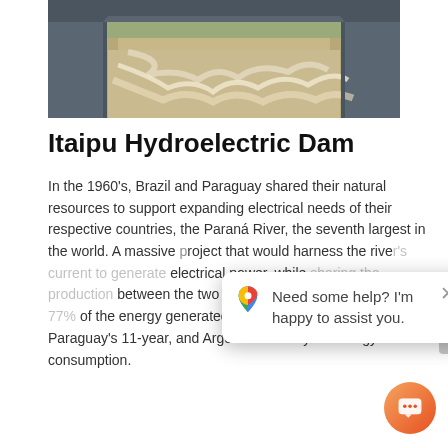[Figure (photo): Aerial or ground-level view of Itaipu Dam with massive water discharge/spillway, churning white and brown water flowing through concrete channels.]
Itaipu Hydroelectric Dam
In the 1960's, Brazil and Paraguay shared their natural resources to support expanding electrical needs of their respective countries, the Paraná River, the seventh largest in the world. A massive project that would harness the river's current to generate electrical power, while sharing the production between the two nations. Brazil consumes about 77% of the energy generated by the plant, equivalent to Paraguay's 11-year, and Argentina's one year energy consumption.